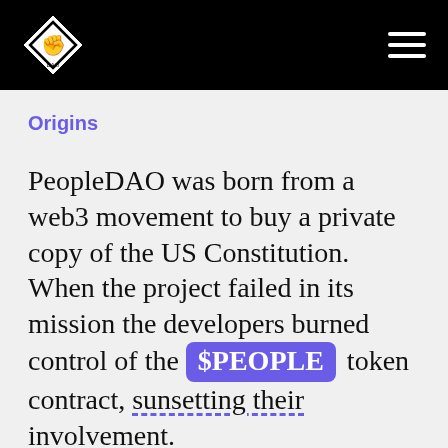PeopleDAO logo and navigation
Origins
PeopleDAO was born from a web3 movement to buy a private copy of the US Constitution. When the project failed in its mission the developers burned control of the $PEOPLE token contract, sunsetting their involvement. A group of community members formed PeopleDAO and adopted